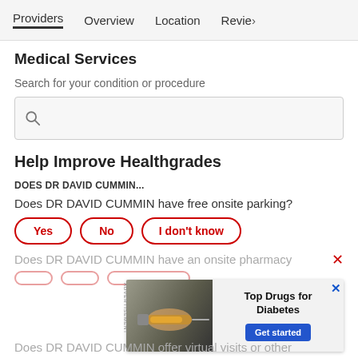Providers | Overview | Location | Reviews
Medical Services
Search for your condition or procedure
[Figure (screenshot): Search input box with magnifying glass icon]
Help Improve Healthgrades
DOES DR DAVID CUMMIN...
Does DR DAVID CUMMIN have free onsite parking?
Yes | No | I don't know
Does DR DAVID CUMMIN have an onsite pharmacy
[Figure (photo): Advertisement banner: Top Drugs for Diabetes with syringe image and Get started button]
Does DR DAVID CUMMIN offer virtual visits or other